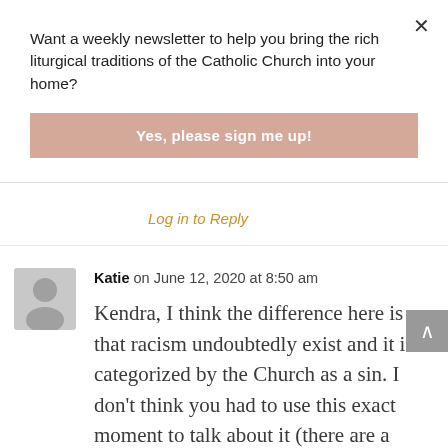Want a weekly newsletter to help you bring the rich liturgical traditions of the Catholic Church into your home?
Yes, please sign me up!
Log in to Reply
Katie on June 12, 2020 at 8:50 am
Kendra, I think the difference here is that racism undoubtedly exist and it is categorized by the Church as a sin. I don't think you had to use this exact moment to talk about it (there are a million